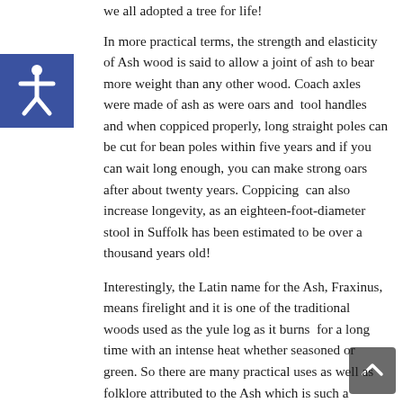we all adopted a tree for life!
In more practical terms, the strength and elasticity of Ash wood is said to allow a joint of ash to bear more weight than any other wood. Coach axles were made of ash as were oars and tool handles and when coppiced properly, long straight poles can be cut for bean poles within five years and if you can wait long enough, you can make strong oars after about twenty years. Coppicing can also increase longevity, as an eighteen-foot-diameter stool in Suffolk has been estimated to be over a thousand years old!
Interestingly, the Latin name for the Ash, Fraxinus, means firelight and it is one of the traditional woods used as the yule log as it burns for a long time with an intense heat whether seasoned or green. So there are many practical uses as well as folklore attributed to the Ash which is such a majestic tree. Unfortunately, a relatively recent predator is